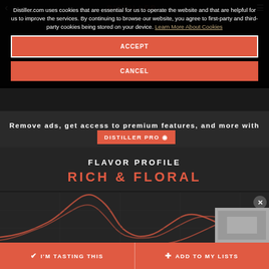DISTILLER
Distiller.com uses cookies that are essential for us to operate the website and that are helpful for us to improve the services. By continuing to browse our website, you agree to first-party and third-party cookies being stored on your device. Learn More About Cookies
ACCEPT
CANCEL
Remove ads, get access to premium features, and more with DISTILLER PRO
FLAVOR PROFILE
RICH & FLORAL
[Figure (continuous-plot): Flavor profile wave/line chart with orange lines on dark background showing flavor intensity curves]
I'M TASTING THIS
ADD TO MY LISTS